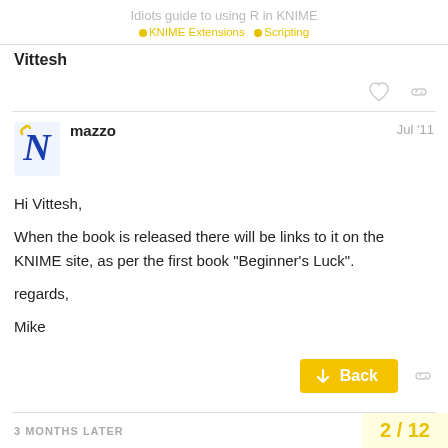Idiots guide to using R in KNIME
KNIME Extensions  Scripting
Vittesh
mazzo  Jul '11
Hi Vittesh,

When the book is released there will be links to it on the KNIME site, as per the first book "Beginner's Luck".

regards,

Mike
3 MONTHS LATER